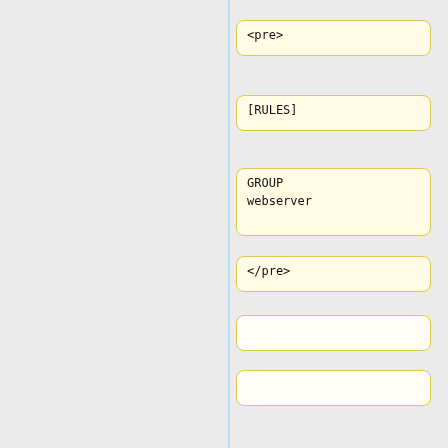<pre>
[RULES]
GROUP webserver
</pre>
=== IP Aliases ===
IP Aliases allows you to associate IP addresses of Networks